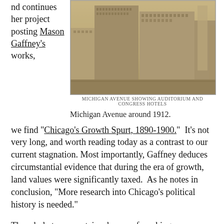nd continues her project posting Mason Gaffney's works,
[Figure (photo): Sepia-toned historical photograph of Michigan Avenue around 1912, showing the Auditorium and Congress Hotels, tall early 20th century buildings lining the street.]
Michigan Avenue around 1912.
we find “Chicago’s Growth Spurt, 1890-1900.”  It’s not very long, and worth reading today as a contrast to our current stagnation. Most importantly, Gaffney deduces circumstantial evidence that during the era of growth, land values were significantly taxed.  As he notes in conclusion, “More research into Chicago’s political history is needed.”
The whole trove contains dozens of working papers, class notes, and publications, in Gaffney’s concise